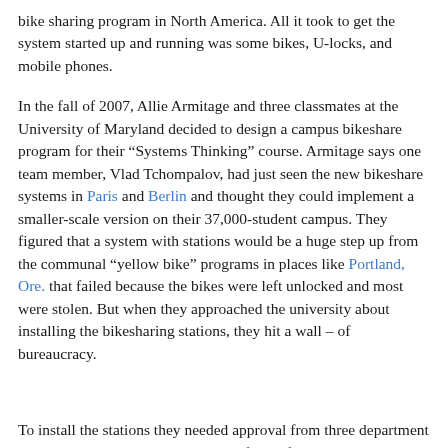bike sharing program in North America. All it took to get the system started up and running was some bikes, U-locks, and mobile phones.
In the fall of 2007, Allie Armitage and three classmates at the University of Maryland decided to design a campus bikeshare program for their “Systems Thinking” course. Armitage says one team member, Vlad Tchompalov, had just seen the new bikeshare systems in Paris and Berlin and thought they could implement a smaller-scale version on their 37,000-student campus. They figured that a system with stations would be a huge step up from the communal “yellow bike” programs in places like Portland, Ore. that failed because the bikes were left unlocked and most were stolen. But when they approached the university about installing the bikesharing stations, they hit a wall – of bureaucracy.
To install the stations they needed approval from three department heads, and to even get their plans in front of them they had to get the support of everyone working under them. They went to their faculty advisor, Dr. Gerald Suarez...